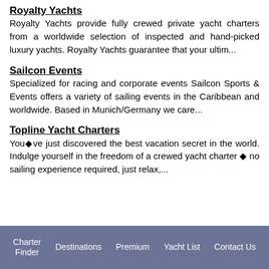Royalty Yachts
Royalty Yachts provide fully crewed private yacht charters from a worldwide selection of inspected and hand-picked luxury yachts. Royalty Yachts guarantee that your ultim...
Sailcon Events
Specialized for racing and corporate events Sailcon Sports & Events offers a variety of sailing events in the Caribbean and worldwide. Based in Munich/Germany we care...
Topline Yacht Charters
You◆ve just discovered the best vacation secret in the world. Indulge yourself in the freedom of a crewed yacht charter ◆ no sailing experience required, just relax,...
Charter Finder  Destinations  Premium  Yacht List  Contact Us